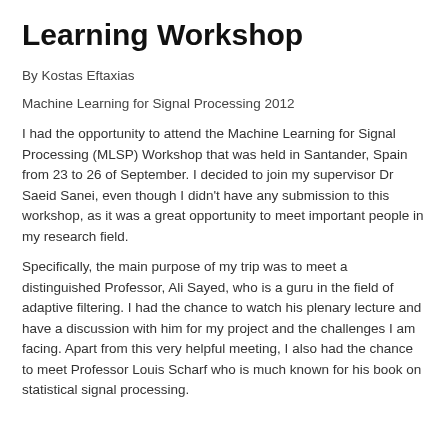Learning Workshop
By Kostas Eftaxias
Machine Learning for Signal Processing 2012
I had the opportunity to attend the Machine Learning for Signal Processing (MLSP) Workshop that was held in Santander, Spain from 23 to 26 of September. I decided to join my supervisor Dr Saeid Sanei, even though I didn't have any submission to this workshop, as it was a great opportunity to meet important people in my research field.
Specifically, the main purpose of my trip was to meet a distinguished Professor, Ali Sayed, who is a guru in the field of adaptive filtering. I had the chance to watch his plenary lecture and have a discussion with him for my project and the challenges I am facing. Apart from this very helpful meeting, I also had the chance to meet Professor Louis Scharf who is much known for his book on statistical signal processing.